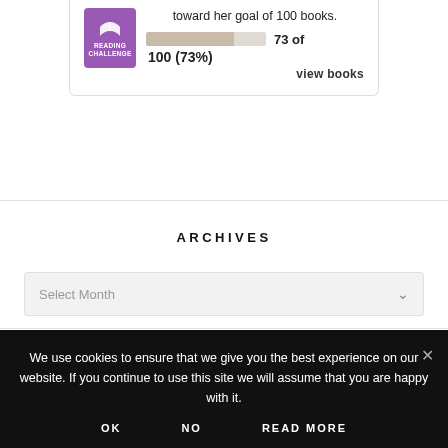[Figure (infographic): Reading Challenge badge (purple book icon with READING CHALLENGE text) with progress bar showing 73 of 100 books (73%) and a 'view books' link]
ARCHIVES
Select Month
We use cookies to ensure that we give you the best experience on our website. If you continue to use this site we will assume that you are happy with it.
OK   NO   READ MORE